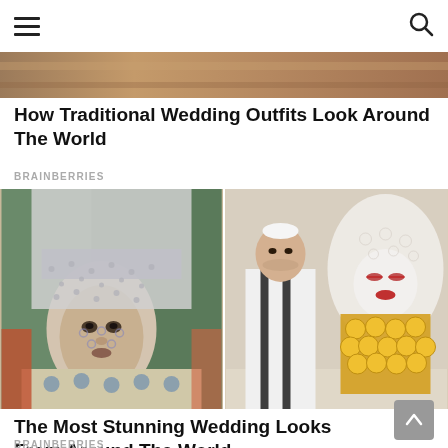Navigation header with hamburger menu and search icon
[Figure (photo): Partial top edge of a photo showing traditional wedding costume — warm earthy tones]
How Traditional Wedding Outfits Look Around The World
BRAINBERRIES
[Figure (photo): Two photos side by side: left — a woman in elaborate silver jeweled headdress and lace veil with beaded dress; right — a man in white and black traditional costume standing next to a woman in white crocheted veil with large gold coin necklace on white painted face]
The Most Stunning Wedding Looks From Around The World
BRAINBERRIES